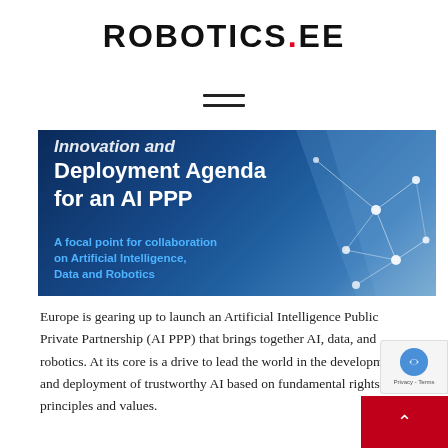ROBOTICS.EE
[Figure (illustration): Hamburger/menu icon with two horizontal lines]
[Figure (illustration): Banner image showing 'Innovation and Deployment Agenda for an AI PPP' with subtitle 'A focal point for collaboration on Artificial Intelligence, Data and Robotics' on a dark blue background with network graphic]
Europe is gearing up to launch an Artificial Intelligence Public Private Partnership (AI PPP) that brings together AI, data, and robotics. At its core is a drive to lead the world in the development and deployment of trustworthy AI based on fundamental rights, principles and values.